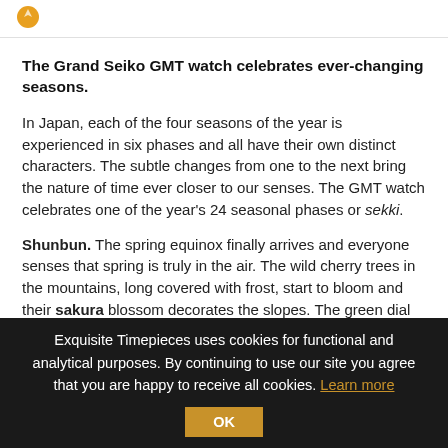[Figure (logo): Small orange/yellow logo icon in top left corner]
The Grand Seiko GMT watch celebrates ever-changing seasons.
In Japan, each of the four seasons of the year is experienced in six phases and all have their own distinct characters. The subtle changes from one to the next bring the nature of time ever closer to our senses. The GMT watch celebrates one of the year's 24 seasonal phases or sekki.
Shunbun. The spring equinox finally arrives and everyone senses that spring is truly in the air. The wild cherry trees in the mountains, long covered with frost, start to bloom and their sakura blossom decorates the slopes. The green dial and rose gold tone accents perfectly capture
Exquisite Timepieces uses cookies for functional and analytical purposes. By continuing to use our site you agree that you are happy to receive all cookies. Learn more OK